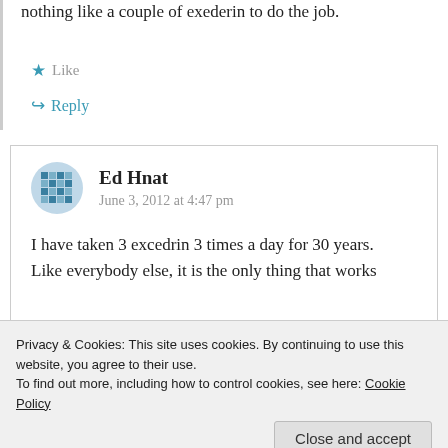nothing like a couple of exederin to do the job.
Like
Reply
Ed Hnat
June 3, 2012 at 4:47 pm
I have taken 3 excedrin 3 times a day for 30 years. Like everybody else, it is the only thing that works
Privacy & Cookies: This site uses cookies. By continuing to use this website, you agree to their use. To find out more, including how to control cookies, see here: Cookie Policy
Close and accept
are writing in can't be wrong.